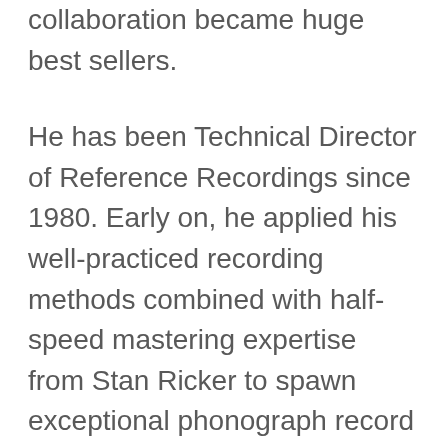collaboration became huge best sellers. He has been Technical Director of Reference Recordings since 1980. Early on, he applied his well-practiced recording methods combined with half-speed mastering expertise from Stan Ricker to spawn exceptional phonograph record releases that received numerous awards and continue to be the best of their kind. First with producer and RR founder Tam Henderson, and recently with other outstanding producers, Johnson has recorded and released over 140 compact disc and surround-sound SACD